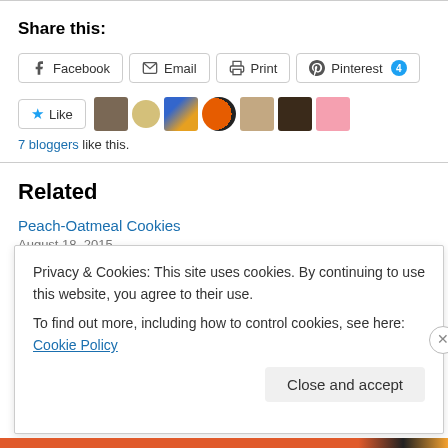Share this:
Facebook  Email  Print  Pinterest 4
Like  7 bloggers like this.
Related
Peach-Oatmeal Cookies
August 18, 2015
In "About me"
Privacy & Cookies: This site uses cookies. By continuing to use this website, you agree to their use.
To find out more, including how to control cookies, see here: Cookie Policy
Close and accept